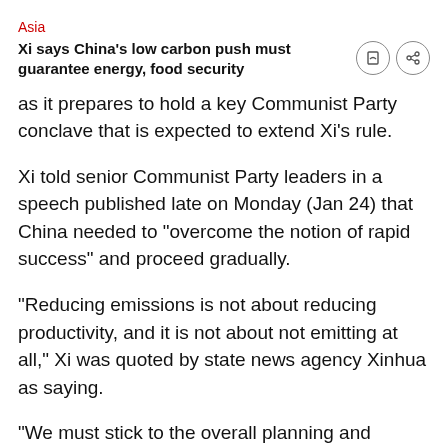Asia
Xi says China's low carbon push must guarantee energy, food security
as it prepares to hold a key Communist Party conclave that is expected to extend Xi's rule.
Xi told senior Communist Party leaders in a speech published late on Monday (Jan 24) that China needed to "overcome the notion of rapid success" and proceed gradually.
"Reducing emissions is not about reducing productivity, and it is not about not emitting at all," Xi was quoted by state news agency Xinhua as saying.
"We must stick to the overall planning and ensure energy security, industrial supply chain security and food security at the same time as cutting carbon